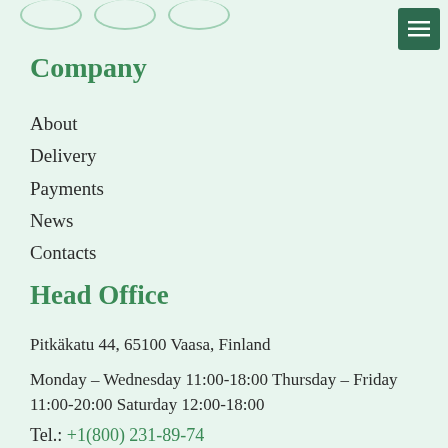Company
About
Delivery
Payments
News
Contacts
Head Office
Pitkäkatu 44, 65100 Vaasa, Finland
Monday – Wednesday 11:00-18:00 Thursday – Friday 11:00-20:00 Saturday 12:00-18:00
Tel.: +1(800) 231-89-74